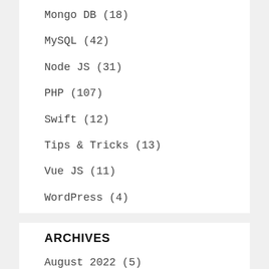Mongo DB (18)
MySQL (42)
Node JS (31)
PHP (107)
Swift (12)
Tips & Tricks (13)
Vue JS (11)
WordPress (4)
ARCHIVES
August 2022 (5)
July 2022 (3)